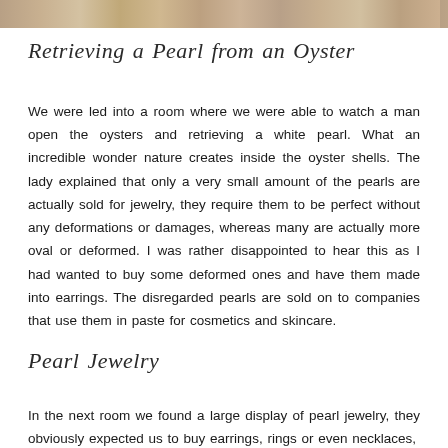[Figure (photo): Partial photograph visible as a strip at the top of the page, showing what appears to be pearl or oyster-related imagery in warm beige and tan tones.]
Retrieving a Pearl from an Oyster
We were led into a room where we were able to watch a man open the oysters and retrieving a white pearl. What an incredible wonder nature creates inside the oyster shells. The lady explained that only a very small amount of the pearls are actually sold for jewelry, they require them to be perfect without any deformations or damages, whereas many are actually more oval or deformed. I was rather disappointed to hear this as I had wanted to buy some deformed ones and have them made into earrings. The disregarded pearls are sold on to companies that use them in paste for cosmetics and skincare.
Pearl Jewelry
In the next room we found a large display of pearl jewelry, they obviously expected us to buy earrings, rings or even necklaces,